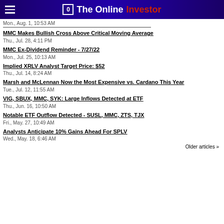The Online Investor
Mon., Aug. 1, 10:53 AM
MMC Makes Bullish Cross Above Critical Moving Average
Thu., Jul. 28, 4:11 PM
MMC Ex-Dividend Reminder - 7/27/22
Mon., Jul. 25, 10:13 AM
Implied XRLV Analyst Target Price: $52
Thu., Jul. 14, 8:24 AM
Marsh and McLennan Now the Most Expensive vs. Cardano This Year
Tue., Jul. 12, 11:55 AM
VIG, SBUX, MMC, SYK: Large Inflows Detected at ETF
Thu., Jun. 16, 10:50 AM
Notable ETF Outflow Detected - SUSL, MMC, ZTS, TJX
Fri., May. 27, 10:49 AM
Analysts Anticipate 10% Gains Ahead For SPLV
Wed., May. 18, 6:46 AM
Older articles »